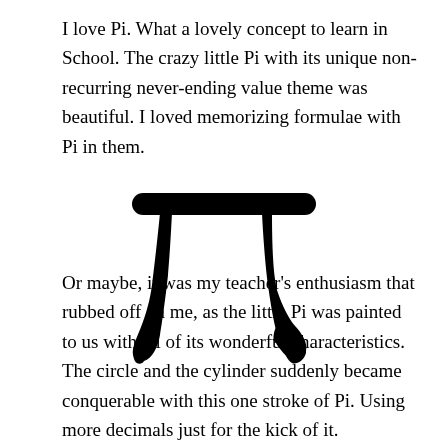I love Pi. What a lovely concept to learn in School. The crazy little Pi with its unique non-recurring never-ending value theme was beautiful. I loved memorizing formulae with Pi in them.
[Figure (illustration): Large black pi (π) symbol centered on the page]
Or maybe, it was my teacher's enthusiasm that rubbed off on me, as the little Pi was painted to us with all of its wonderful characteristics. The circle and the cylinder suddenly became conquerable with this one stroke of Pi. Using more decimals just for the kick of it.